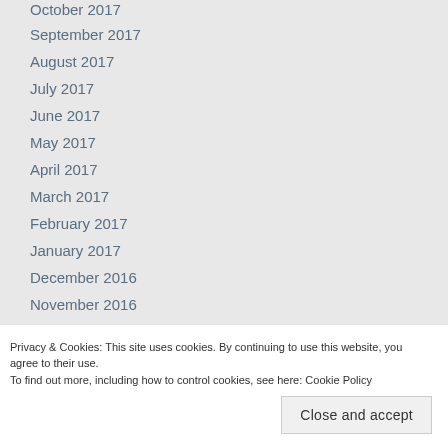October 2017
September 2017
August 2017
July 2017
June 2017
May 2017
April 2017
March 2017
February 2017
January 2017
December 2016
November 2016
October 2016
May 2016
Privacy & Cookies: This site uses cookies. By continuing to use this website, you agree to their use.
To find out more, including how to control cookies, see here: Cookie Policy
Close and accept